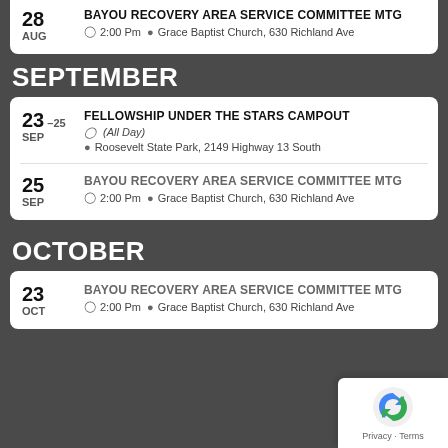28 AUG — BAYOU RECOVERY AREA SERVICE COMMITTEE MTG — 2:00 Pm — Grace Baptist Church, 630 Richland Ave
SEPTEMBER
23–25 SEP — FELLOWSHIP UNDER THE STARS CAMPOUT — All Day — Roosevelt State Park, 2149 Highway 13 South
25 SEP — BAYOU RECOVERY AREA SERVICE COMMITTEE MTG — 2:00 Pm — Grace Baptist Church, 630 Richland Ave
OCTOBER
23 OCT — BAYOU RECOVERY AREA SERVICE COMMITTEE MTG — 2:00 Pm — Grace Baptist Church, 630 Richland Ave